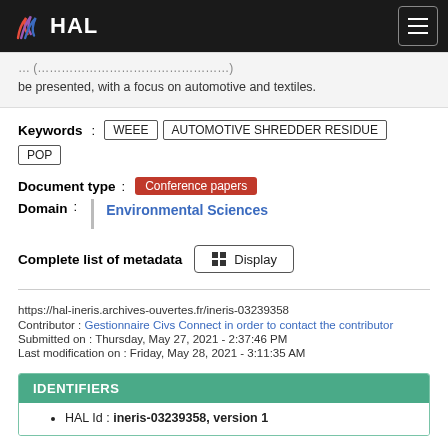HAL
be presented, with a focus on automotive and textiles.
Keywords : WEEE  AUTOMOTIVE SHREDDER RESIDUE  POP
Document type : Conference papers
Domain : Environmental Sciences
Complete list of metadata   Display
https://hal-ineris.archives-ouvertes.fr/ineris-03239358
Contributor : Gestionnaire Civs Connect in order to contact the contributor
Submitted on : Thursday, May 27, 2021 - 2:37:46 PM
Last modification on : Friday, May 28, 2021 - 3:11:35 AM
IDENTIFIERS
HAL Id : ineris-03239358, version 1